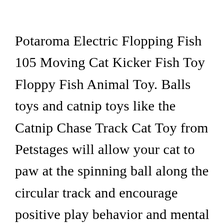Potaroma Electric Flopping Fish 105 Moving Cat Kicker Fish Toy Floppy Fish Animal Toy. Balls toys and catnip toys like the Catnip Chase Track Cat Toy from Petstages will allow your cat to paw at the spinning ball along the circular track and encourage positive play behavior and mental stimulation. Play is one of the foundations of a healthy cat and healthy cat Mojo. Most of the best laser toys for cats on the market only have one but PetSafes randomized dual